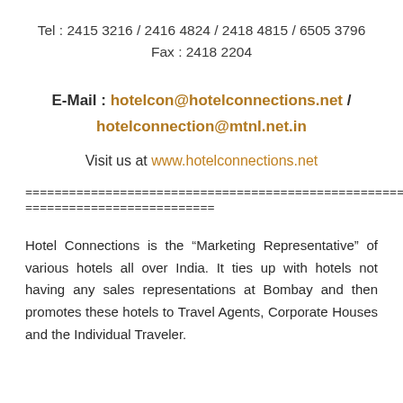Tel : 2415 3216 / 2416 4824 / 2418 4815 / 6505 3796
Fax : 2418 2204
E-Mail : hotelcon@hotelconnections.net / hotelconnection@mtnl.net.in
Visit us at www.hotelconnections.net
============================================================
==========================
Hotel Connections is the “Marketing Representative” of various hotels all over India. It ties up with hotels not having any sales representations at Bombay and then promotes these hotels to Travel Agents, Corporate Houses and the Individual Traveler.